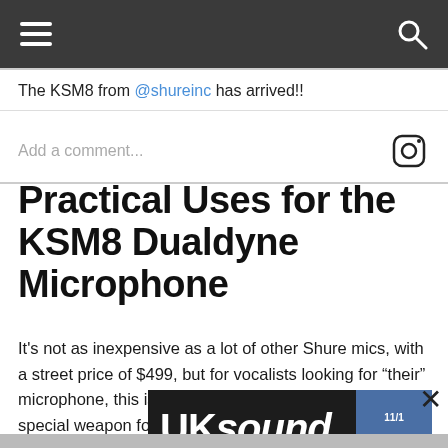Navigation bar with hamburger menu and search icon
The KSM8 from @shureinc has arrived!!
Add a comment...
Practical Uses for the KSM8 Dualdyne Microphone
It's not as inexpensive as a lot of other Shure mics, with a street price of $499, but for vocalists looking for “their” microphone, this is it. Sound engineers looking for that special weapon for singers who really beat on a mic, in a musical sense, this is it. In fact, even though it's clearly being marketing for vocal use, we couldn’t find a situation where it wasn’t “it.” So we encourage you to experiment, like we d[id]. [Anything] you can [think of,] the new KS[M8...]
[Figure (screenshot): UK Sound advertisement banner: black background with white bold 'UKsound' logo and tagline 'Studio Sound at an Affordable Price', with product images on the right side]